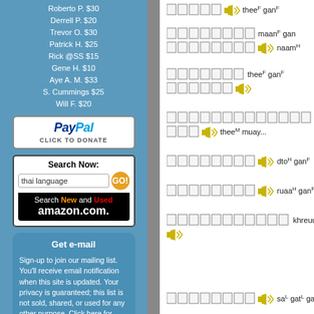Roberto P. $30
Derrell P. $20
Trevor O. $30
Patrick H. $25
Rick @SS $15
Gene H. $10
Aye A. M. $33
S. Cummings $25
Will F. $20
[Figure (logo): PayPal donate button with italic PayPal logo and CLICK TO DONATE text]
[Figure (screenshot): Search box with 'thai language' text and GO button, followed by amazon.com Search New and Used ad]
Get e-mail
Sign-up to join our mailing list. You'll receive email notification when this site is updated. Your privacy is guaranteed; this list is not sold, shared, or used for any other purpose. Click here for more information.

To unsubscribe, click here.
[Figure (other): Thai language learning content with Thai script characters and romanized phonetic transcriptions including thee^F gan^, maan^F gan naam^H, thee^F gan^F, cheuuak^F g... thee^M muay..., dto^H gan^F, ruaa^H gan^F, khreuuang^... sa^L gat^L ga...]